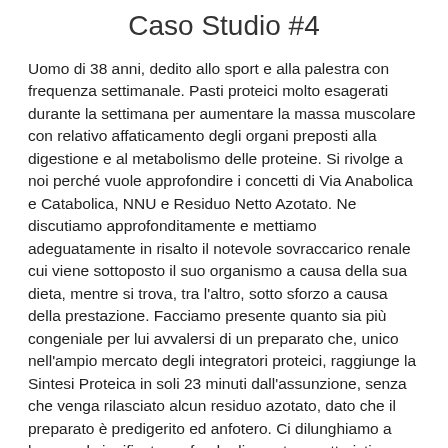Caso Studio #4
Uomo di 38 anni, dedito allo sport e alla palestra con frequenza settimanale. Pasti proteici molto esagerati durante la settimana per aumentare la massa muscolare con relativo affaticamento degli organi preposti alla digestione e al metabolismo delle proteine. Si rivolge a noi perché vuole approfondire i concetti di Via Anabolica e Catabolica, NNU e Residuo Netto Azotato. Ne discutiamo approfonditamente e mettiamo adeguatamente in risalto il notevole sovraccarico renale cui viene sottoposto il suo organismo a causa della sua dieta, mentre si trova, tra l'altro, sotto sforzo a causa della prestazione. Facciamo presente quanto sia più congeniale per lui avvalersi di un preparato che, unico nell'ampio mercato degli integratori proteici, raggiunge la Sintesi Proteica in soli 23 minuti dall'assunzione, senza che venga rilasciato alcun residuo azotato, dato che il preparato è predigerito ed anfotero. Ci dilunghiamo a lungo sul significato profondo di questa caratteristica unica di Son Formula Map e